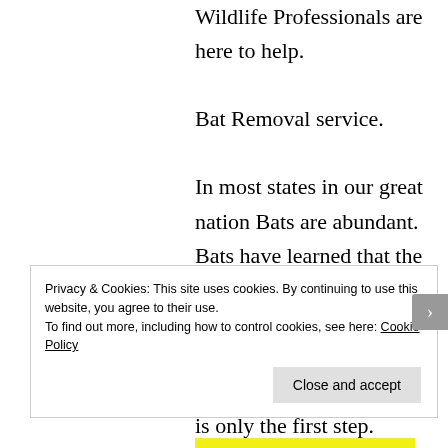Wildlife Professionals are here to help. Bat Removal service. In most states in our great nation Bats are abundant. Bats have learned that the attics Chimneys and soffits of our homes can be a safe place to have babies and live. Bat Removal Service is only the first step. Exclusion of the Bats in
Privacy & Cookies: This site uses cookies. By continuing to use this website, you agree to their use.
To find out more, including how to control cookies, see here: Cookie Policy
Close and accept